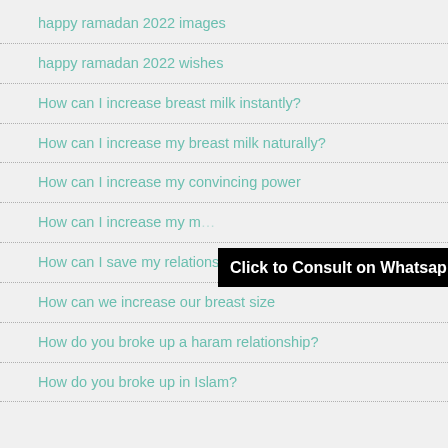happy ramadan 2022 images
happy ramadan 2022 wishes
How can I increase breast milk instantly?
How can I increase my breast milk naturally?
How can I increase my convincing power
How can I increase my m[…]
How can I save my relationship?
How can we increase our breast size
How do you broke up a haram relationship?
How do you broke up in Islam?
Click to Consult on Whatsapp